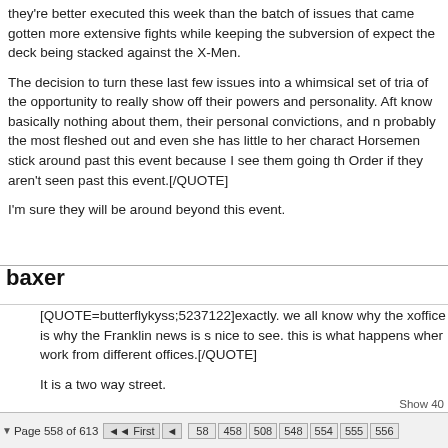they're better executed this week than the batch of issues that came gotten more extensive fights while keeping the subversion of expect the deck being stacked against the X-Men.
The decision to turn these last few issues into a whimsical set of tria of the opportunity to really show off their powers and personality. Aft know basically nothing about them, their personal convictions, and n probably the most fleshed out and even she has little to her charact Horsemen stick around past this event because I see them going th Order if they aren't seen past this event.[/QUOTE]
I'm sure they will be around beyond this event.
baxer
[QUOTE=butterflykyss;5237122]exactly. we all know why the xoffice is why the Franklin news is s nice to see. this is what happens wher work from different offices.[/QUOTE]
It is a two way street.
Show 40  ▼ Page 558 of 613  ◄◄ First  ◄  58  458  508  548  554  555  556